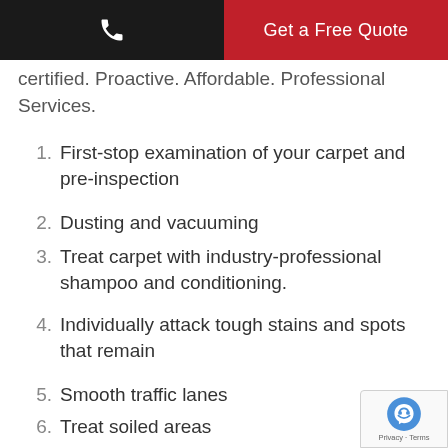Get a Free Quote
certified. Proactive. Affordable. Professional Services.
1. First-stop examination of your carpet and pre-inspection
2. Dusting and vacuuming
3. Treat carpet with industry-professional shampoo and conditioning.
4. Individually attack tough stains and spots that remain
5. Smooth traffic lanes
6. Treat soiled areas
7. Apply steam to the carpet
8. Tackle remaining spots on the carpet
9. Apply Teflon protector see below.
10. Post-cleaning grooming